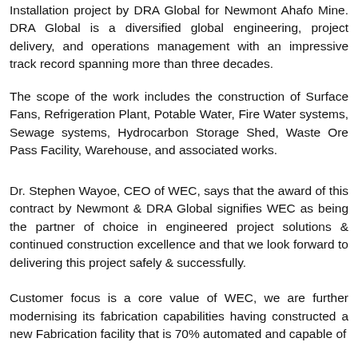Installation project by DRA Global for Newmont Ahafo Mine. DRA Global is a diversified global engineering, project delivery, and operations management with an impressive track record spanning more than three decades.
The scope of the work includes the construction of Surface Fans, Refrigeration Plant, Potable Water, Fire Water systems, Sewage systems, Hydrocarbon Storage Shed, Waste Ore Pass Facility, Warehouse, and associated works.
Dr. Stephen Wayoe, CEO of WEC, says that the award of this contract by Newmont & DRA Global signifies WEC as being the partner of choice in engineered project solutions & continued construction excellence and that we look forward to delivering this project safely & successfully.
Customer focus is a core value of WEC, we are further modernising its fabrication capabilities having constructed a new Fabrication facility that is 70% automated and capable of